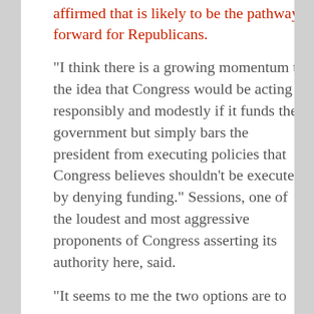affirmed that is likely to be the pathway forward for Republicans.
“I think there is a growing momentum to the idea that Congress would be acting responsibly and modestly if it funds the government but simply bars the president from executing policies that Congress believes shouldn’t be executed by denying funding.” Sessions, one of the loudest and most aggressive proponents of Congress asserting its authority here, said.
“It seems to me the two options are to